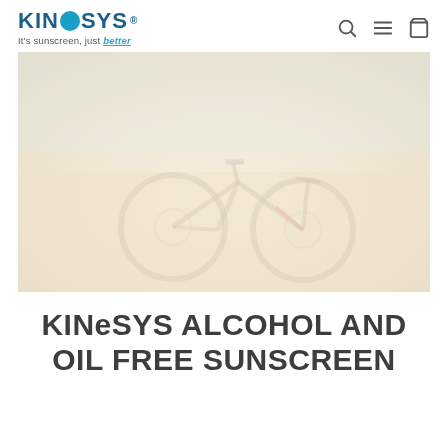[Figure (logo): KINeSYS logo with circular blue e, tagline 'It's sunscreen, just better' in blue underline]
[Figure (photo): Faded/washed-out photo of a bicycle on grass, very light warm tones]
KINeSYS ALCOHOL AND OIL FREE SUNSCREEN